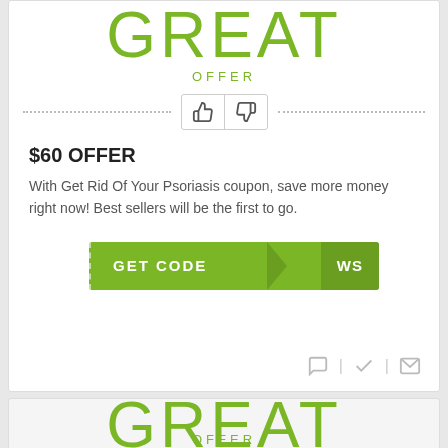GREAT
OFFER
$60 OFFER
With Get Rid Of Your Psoriasis coupon, save more money right now! Best sellers will be the first to go.
GET CODE WS
GREAT
OFFER